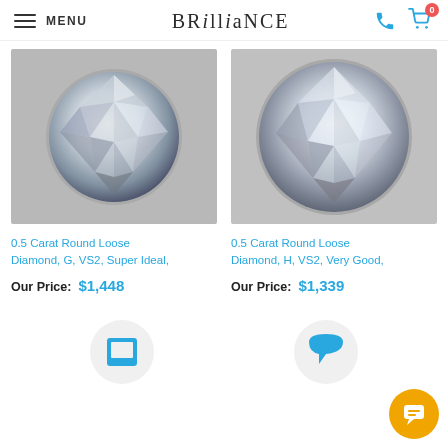MENU | BRILLIANCE
[Figure (photo): Round loose diamond photographed from above on grey background, first product]
0.5 Carat Round Loose Diamond, G, VS2, Super Ideal,
Our Price: $1,448
[Figure (photo): Round loose diamond photographed from above on grey background, second product]
0.5 Carat Round Loose Diamond, H, VS2, Very Good,
Our Price: $1,339
[Figure (illustration): Bottom feature icons partially visible]
[Figure (illustration): Chat support button (orange circle with chat icon)]